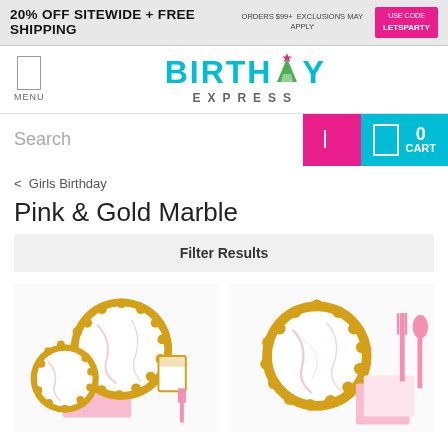20% OFF SITEWIDE + FREE SHIPPING  ORDERS $99+  EXCLUSIONS MAY APPLY  USE CODE LETSPARTY
[Figure (logo): Birthday Express logo with teal text, party hat graphic replacing the A in BIRTHDAY, and EXPRESS in grey below]
[Figure (screenshot): Search bar with teal background, white search input field, pink search button with icon, and cart area showing 0 CART]
< Girls Birthday
Pink & Gold Marble
Filter Results
[Figure (photo): Pink and Gold Marble party supply set showing large and small decorative plates with gold scalloped edges and marble pattern, a pink cup, pink napkins and pink cutlery]
[Figure (photo): Pink and Gold Marble party supply set showing large decorative plates with gold scalloped edges and marble pattern, napkins, pink fork and spoon cutlery]